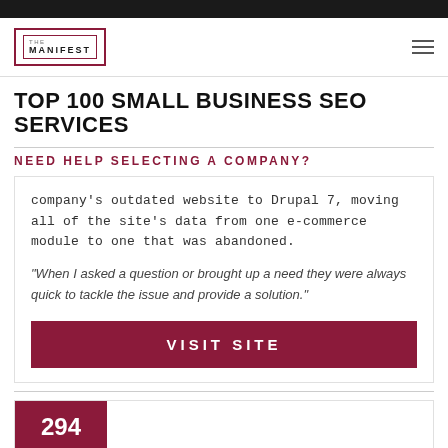[Figure (logo): The Manifest logo — square border with inner square and text THE MANIFEST]
TOP 100 SMALL BUSINESS SEO SERVICES
NEED HELP SELECTING A COMPANY?
company's outdated website to Drupal 7, moving all of the site's data from one e-commerce module to one that was abandoned.
"When I asked a question or brought up a need they were always quick to tackle the issue and provide a solution."
VISIT SITE
294